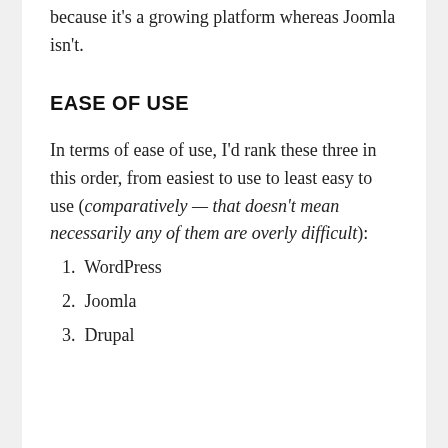because it's a growing platform whereas Joomla isn't.
EASE OF USE
In terms of ease of use, I'd rank these three in this order, from easiest to use to least easy to use (comparatively — that doesn't mean necessarily any of them are overly difficult):
1. WordPress
2. Joomla
3. Drupal